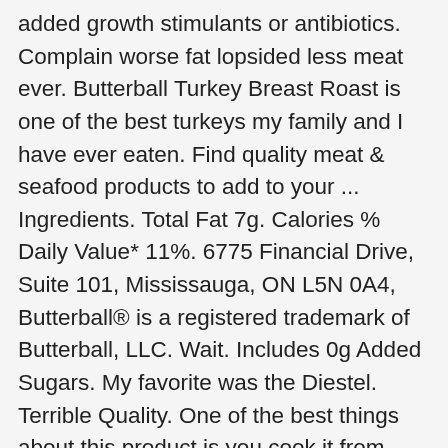added growth stimulants or antibiotics. Complain worse fat lopsided less meat ever. Butterball Turkey Breast Roast is one of the best turkeys my family and I have ever eaten. Find quality meat & seafood products to add to your ... Ingredients. Total Fat 7g. Calories % Daily Value* 11%. 6775 Financial Drive, Suite 101, Mississauga, ON L5N 0A4, Butterball® is a registered trademark of Butterball, LLC. Wait. Includes 0g Added Sugars. My favorite was the Diestel. Terrible Quality. One of the best things about this product is you cook it from frozen. With our wide selection of turkey products, you'll never want another protein. Shop for Butterball Ready to Roast Everyday Boneless Skinless Turkey Breast Smoked Flavor at Fred Meyer. ... Butterball Deli Oven Roasted Turkey Breast. A prebasted, prebrined turkey needs little more than a sturdy roasting pan (don't use the flimsy foil ones unless you want your masterpiece to slip onto the floor), a seasoned rub (herbs, garlic, whatever you like) and time. And then we checked the math. I was asked yesterday to smoke several Butterball Boneless Turkey Roast for Thanksgiving this year and